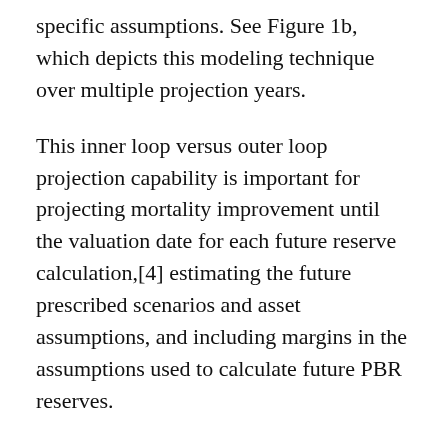specific assumptions. See Figure 1b, which depicts this modeling technique over multiple projection years.
This inner loop versus outer loop projection capability is important for projecting mortality improvement until the valuation date for each future reserve calculation,[4] estimating the future prescribed scenarios and asset assumptions, and including margins in the assumptions used to calculate future PBR reserves.
At each valuation date, the SR itself requires projecting reserves across a distribution of up to 10,000 different prescribed equity and interest rate scenarios.[5] For pricing purposes, companies that need to calculate multiple iterations of each cell may consider modeling simplifications, such as projecting the SR for only certain projection years